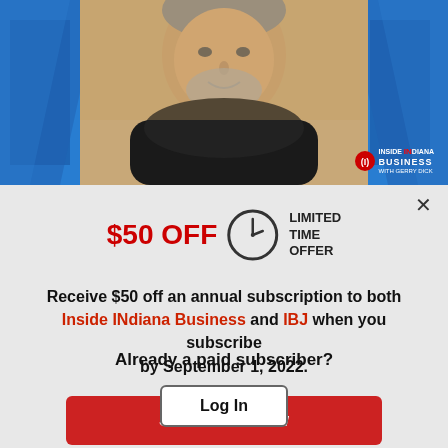[Figure (photo): A middle-aged man with a grey beard wearing a dark sweater, smiling, photographed against a blue studio background with the Inside INdiana Business with Gerry Dick logo visible in the bottom right corner.]
$50 OFF  LIMITED TIME OFFER
Receive $50 off an annual subscription to both Inside INdiana Business and IBJ when you subscribe by September 1, 2022.
Subscribe Now
Already a paid subscriber?
Log In